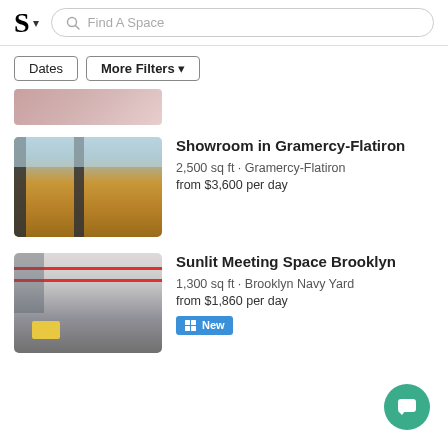S · Find A Space
Dates · More Filters
[Figure (photo): Partially visible photo at top of listing, cropped]
Showroom in Gramercy-Flatiron
2,500 sq ft · Gramercy-Flatiron
from $3,600 per day
[Figure (photo): Interior photo of showroom with hardwood floors and black columns, large windows]
Sunlit Meeting Space Brooklyn
1,300 sq ft · Brooklyn Navy Yard
from $1,860 per day
[Figure (photo): Interior photo of Brooklyn meeting space with red striped ceiling and yellow equipment]
New